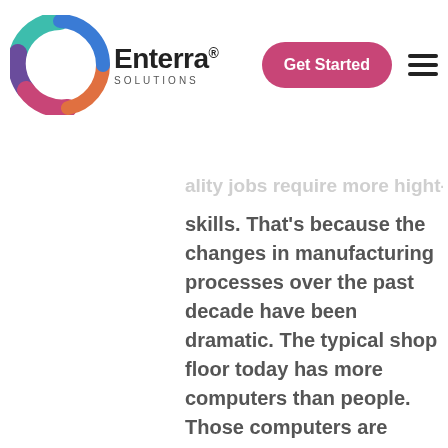600,000 manufacturing positions
[Figure (logo): Enterra Solutions logo with colorful circular ring and brand name]
skills. That's because the changes in manufacturing processes over the past decade have been dramatic. The typical shop floor today has more computers than people. Those computers are hooked up to machinery requiring a level of technical sophistication that would leave even the most ardent teenage video-game enthusiast in the dust.